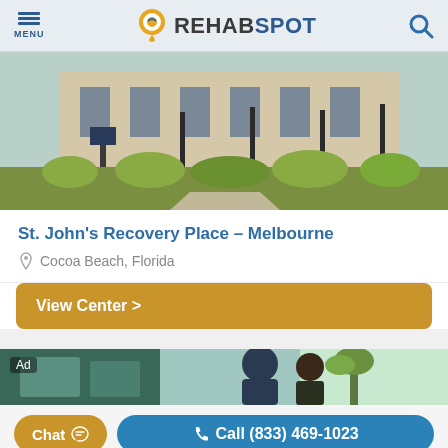MENU | REHABSPOT
[Figure (photo): Exterior photo of St. John's Recovery Place Melbourne facility, showing building with arched windows and landscaped grounds with shrubs and trees]
St. John's Recovery Place – Melbourne
Cocoa Beach, Florida
View Center >
[Figure (photo): Ad banner showing partial exterior photo of a facility with tropical vegetation]
Chat
Call (833) 469-1023
Confidentially speak with a treatment provider